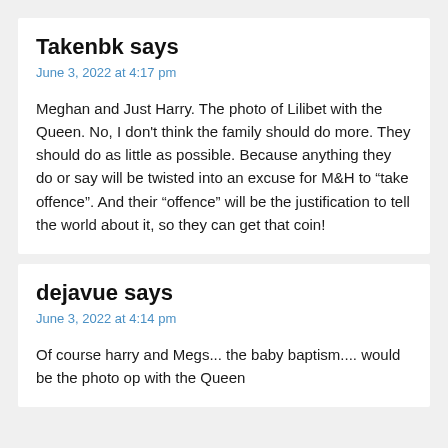Takenbk says
June 3, 2022 at 4:17 pm
Meghan and Just Harry. The photo of Lilibet with the Queen. No, I don't think the family should do more. They should do as little as possible. Because anything they do or say will be twisted into an excuse for M&H to “take offence”. And their “offence” will be the justification to tell the world about it, so they can get that coin!
dejavue says
June 3, 2022 at 4:14 pm
Of course harry and Megs... the baby baptism.... would be the photo op with the Queen